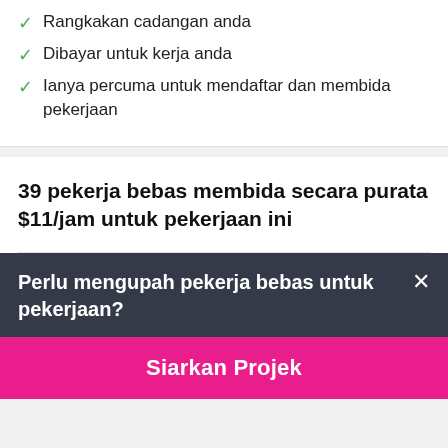Rangkakan cadangan anda
Dibayar untuk kerja anda
Ianya percuma untuk mendaftar dan membida pekerjaan
39 pekerja bebas membida secara purata $11/jam untuk pekerjaan ini
Perlu mengupah pekerja bebas untuk pekerjaan?
Siarkan Projek